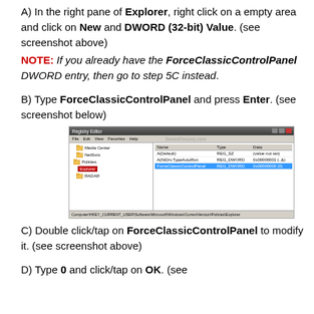A) In the right pane of Explorer, right click on a empty area and click on New and DWORD (32-bit) Value. (see screenshot above)
NOTE: If you already have the ForceClassicControlPanel DWORD entry, then go to step 5C instead.
B) Type ForceClassicControlPanel and press Enter. (see screenshot below)
[Figure (screenshot): Registry Editor window showing ForceClassicControlPanel DWORD entry highlighted in blue under HKEY_CURRENT_USER\Software\Microsoft\Windows\CurrentVersion\Policies\Explorer]
C) Double click/tap on ForceClassicControlPanel to modify it. (see screenshot above)
D) Type 0 and click/tap on OK. (see